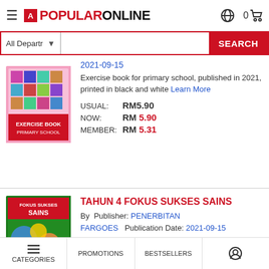POPULAR ONLINE
All Departments SEARCH
2021-09-15
Exercise book for primary school, published in 2021, printed in black and white Learn More
USUAL: RM5.90
NOW: RM 5.90
MEMBER: RM 5.31
TAHUN 4 FOKUS SUKSES SAINS
By Publisher: PENERBITAN FARGOES Publication Date: 2021-09-15
Exercise book for primary school,
CATEGORIES   PROMOTIONS   BESTSELLERS